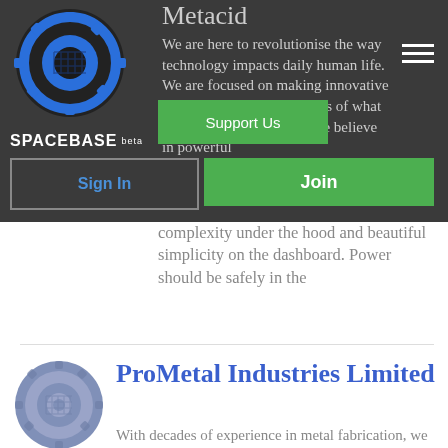[Figure (logo): Spacebase logo: blue circular gear/ring icon above text SPACEBASE with beta label]
Metacid
We are here to revolutionise the way technology impacts daily human life. We are focused on making innovative products that push the limits of what people think is possible. We believe in powerful complexity under the hood and beautiful simplicity on the dashboard. Power should be safely in the
[Figure (screenshot): Support Us green button overlay]
[Figure (screenshot): Sign In bordered button with blue text]
[Figure (screenshot): Join green button]
[Figure (logo): ProMetal Industries Limited logo: large blue-grey circular gear icon]
ProMetal Industries Limited
With decades of experience in metal fabrication, we have